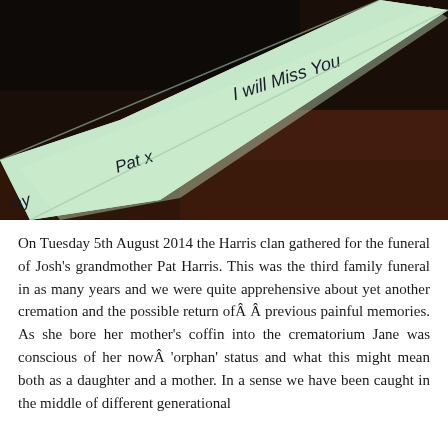[Figure (photo): Close-up photograph of a light green ribbon/sash with handwritten text in black ink reading 'Pat x I will Miss You' against a dark background.]
On Tuesday 5th August 2014 the Harris clan gathered for the funeral of Josh's grandmother Pat Harris. This was the third family funeral in as many years and we were quite apprehensive about yet another cremation and the possible return ofÂ Â previous painful memories. As she bore her mother's coffin into the crematorium Jane was conscious of her nowÂ 'orphan' status and what this might mean both as a daughter and a mother. In a sense we have been caught in the middle of different generational deaths and the col...